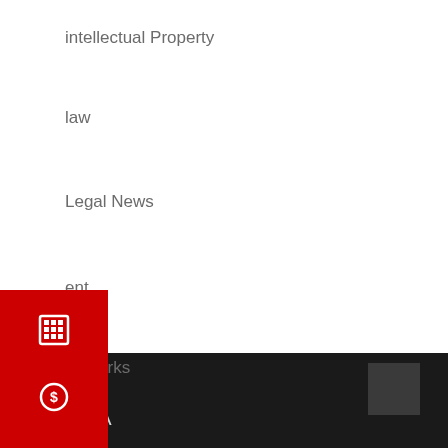intellectual Property
law
Legal News
ent
demarks
[Figure (screenshot): Red vertical panel with a calculator icon and a dollar/chat bubble icon]
Search ...
About TA